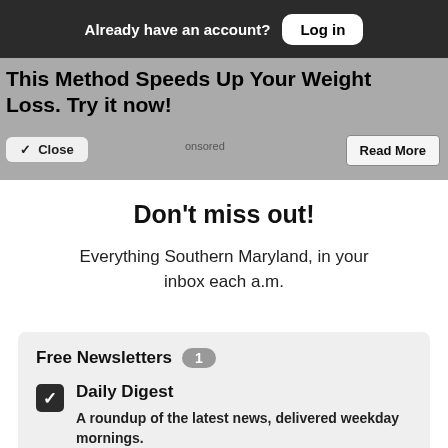Already have an account? Log in
This Method Speeds Up Your Weight Loss. Try it now!
Close  Sponsored  Read More
Don't miss out!
Everything Southern Maryland, in your inbox each a.m.
Free Newsletters 1
Daily Digest
A roundup of the latest news, delivered weekday mornings.